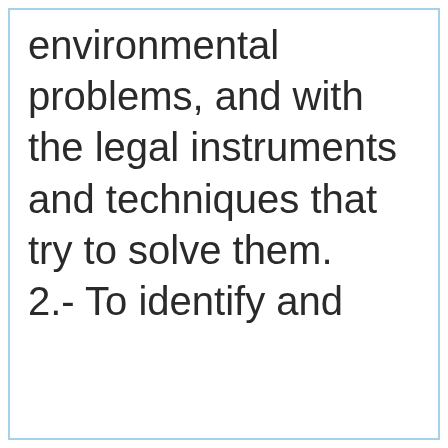environmental problems, and with the legal instruments and techniques that try to solve them. 2.- To identify and